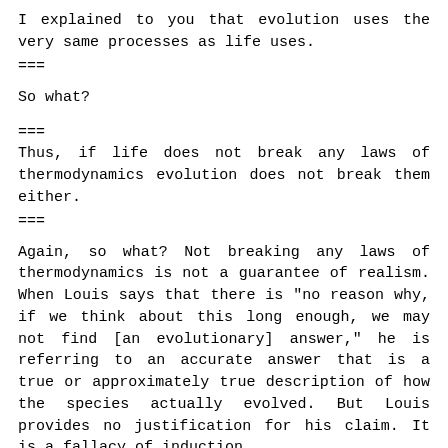I explained to you that evolution uses the very same processes as life uses.
===
So what?
===
Thus, if life does not break any laws of thermodynamics evolution does not break them either.
===
Again, so what? Not breaking any laws of thermodynamics is not a guarantee of realism. When Louis says that there is "no reason why, if we think about this long enough, we may not find [an evolutionary] answer," he is referring to an accurate answer that is a true or approximately true description of how the species actually evolved. But Louis provides no justification for his claim. It is a fallacy of induction.
===